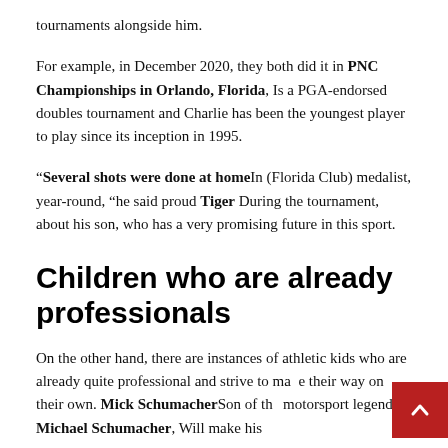tournaments alongside him.
For example, in December 2020, they both did it in PNC Championships in Orlando, Florida, Is a PGA-endorsed doubles tournament and Charlie has been the youngest player to play since its inception in 1995.
“Several shots were done at home In (Florida Club) medalist, year-round, “he said proud Tiger During the tournament, about his son, who has a very promising future in this sport.
Children who are already professionals
On the other hand, there are instances of athletic kids who are already quite professional and strive to make their way on their own. Mick Schumacher Son of the motorsport legend, Michael Schumacher, Will make his